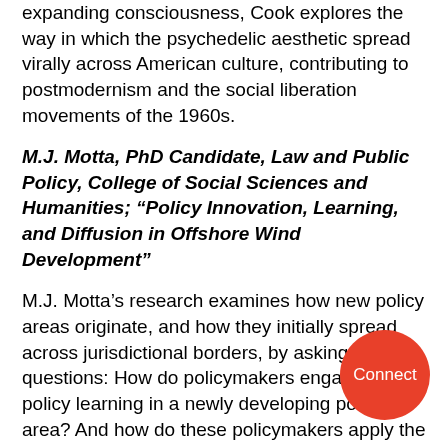expanding consciousness, Cook explores the way in which the psychedelic aesthetic spread virally across American culture, contributing to postmodernism and the social liberation movements of the 1960s.
M.J. Motta, PhD Candidate, Law and Public Policy, College of Social Sciences and Humanities; "Policy Innovation, Learning, and Diffusion in Offshore Wind Development"
M.J. Motta’s research examines how new policy areas originate, and how they initially spread across jurisdictional borders, by asking two questions: How do policymakers engage in policy learning in a newly developing policy area? And how do these policymakers apply the results of their policy learning –that is, how do implementation practices diffuse across borders in a newly developing policy area? To this end, Motta’s study utilizes an in-depth, comparative case study of mid-level state policymakers in Massachusetts, Texas, Rhode and California as they implement offshore wind
[Figure (other): Red circular Connect button in the bottom right corner]